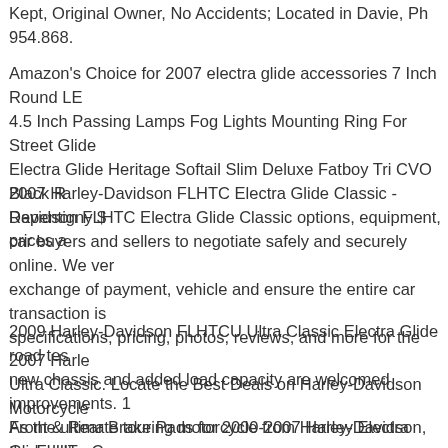Kept, Original Owner, No Accidents; Located in Davie, Ph 954.868.
Amazon's Choice for 2007 electra glide accessories 7 Inch Round LE 4.5 Inch Passing Lamps Fog Lights Mounting Ring For Street Glide Electra Glide Heritage Softail Slim Deluxe Fatboy Tri CVO Black R Davidson FLHTC Electra Glide Classic options, equipment, prices a
2007 Harley-Davidson FLHTC Electra Glide Classic - Repentigny $ car buyers and sellers to negotiate safely and securely online. We ver exchange of payment, vehicle and ensure the entire car transaction is specifications, pricing, photos, reviews, and more for the 2007 Harle Ultra Classic. Locate the Best Deals on Harley-Davidson Motorcycle
2009 Harley-Davidson FLHTCU Ultra Classic Electra Glide road tes new chassis and added load capacity are welcomed improvements. 1 Front & Rear Brake Pads for 2000-2007 Harley Electra Glide Ultra C FREE DELIVERY possible on eligible purchases
As the ultimate touring motorcycle from Harley-Davidson, the FLHT Glide benefits from the additional performance of the Twin Cam 96.